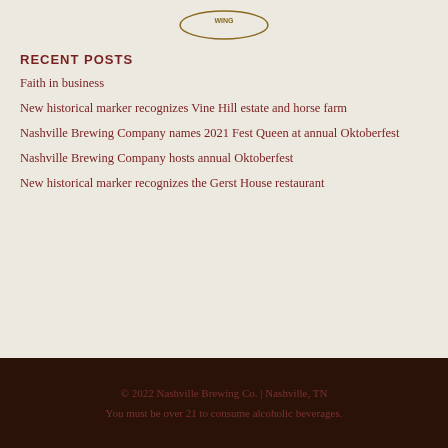[Figure (logo): Partial Nashville Brewing Company logo/seal at the top of the page]
RECENT POSTS
Faith in business
New historical marker recognizes Vine Hill estate and horse farm
Nashville Brewing Company names 2021 Fest Queen at annual Oktoberfest
Nashville Brewing Company hosts annual Oktoberfest
New historical marker recognizes the Gerst House restaurant
© 2022 Nashville Brewing Co. | Nashville, TN
You must be over 21 to consume alcoholic beverages.